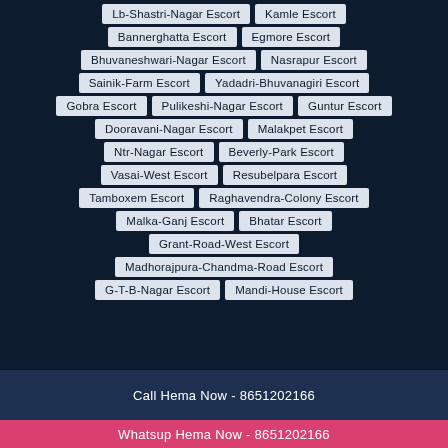Lb-Shastri-Nagar Escort
Kamle Escort
Bannerghatta Escort
Egmore Escort
Bhuvaneshwari-Nagar Escort
Nasrapur Escort
Sainik-Farm Escort
Yadadri-Bhuvanagiri Escort
Gobra Escort
Pulikeshi-Nagar Escort
Guntur Escort
Dooravani-Nagar Escort
Malakpet Escort
Ntr-Nagar Escort
Beverly-Park Escort
Vasai-West Escort
Resubelpara Escort
Tamboxem Escort
Raghavendra-Colony Escort
Malka-Ganj Escort
Bhatar Escort
Grant-Road-West Escort
Madhorajpura-Chandma-Road Escort
G-T-B-Nagar Escort
Mandi-House Escort
Call Hema Now - 8651202166
Whatsup Hema Now - 8651202166